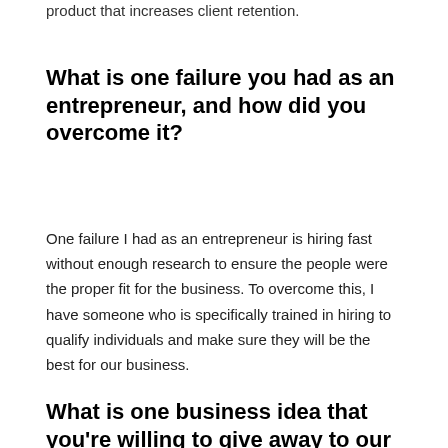product that increases client retention.
What is one failure you had as an entrepreneur, and how did you overcome it?
One failure I had as an entrepreneur is hiring fast without enough research to ensure the people were the proper fit for the business. To overcome this, I have someone who is specifically trained in hiring to qualify individuals and make sure they will be the best for our business.
What is one business idea that you're willing to give away to our readers?